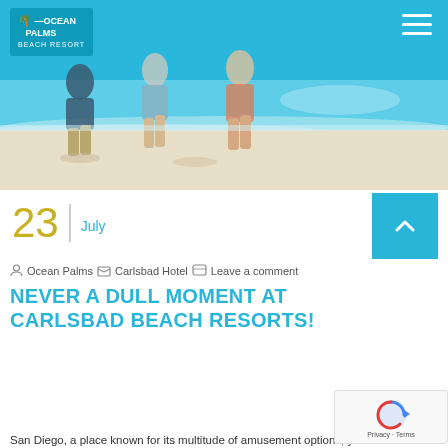[Figure (photo): People running on a sandy beach with ocean waves in background, turquoise water visible. Header image for travel/resort website.]
Ocean Palms Beach Resort
23   July
Ocean Palms   Carlsbad Hotel   Leave a comment
NEVER A DULL MOMENT AT CARLSBAD BEACH RESORTS!
San Diego, a place known for its multitude of amusement options, year-round